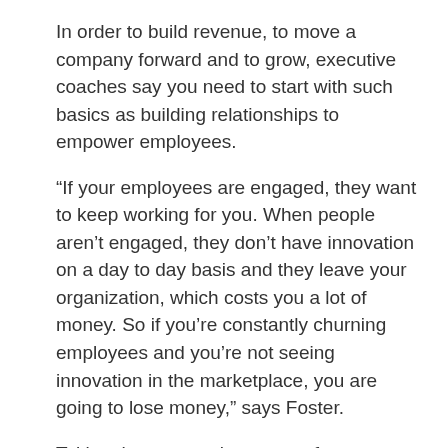In order to build revenue, to move a company forward and to grow, executive coaches say you need to start with such basics as building relationships to empower employees.
“If your employees are engaged, they want to keep working for you. When people aren’t engaged, they don’t have innovation on a day to day basis and they leave your organization, which costs you a lot of money. So if you’re constantly churning employees and you’re not seeing innovation in the marketplace, you are going to lose money,” says Foster.
Taking the steps to be aware of your actions and their influence on those around you can go a long way in making a company successful.